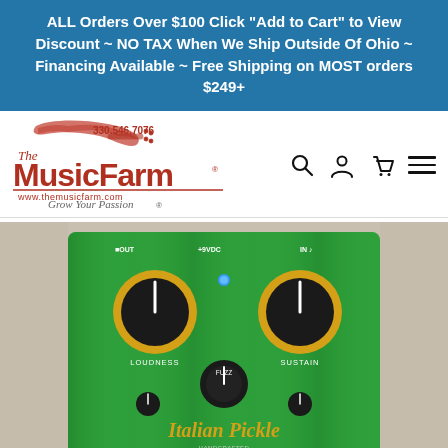ALL Orders Over $100 Click "Add to Cart" to View Discount ~ NO TAX When We Ship Outside Of Ohio ~ Financing Available ~ Free Shipping on MOST orders $249+
[Figure (logo): The Music Farm logo with guitar graphic, phone number 330.546.7076, website www.themusicfarm.com, tagline Grow Your Passion]
[Figure (photo): Photo of a green guitar effects pedal (fuzz/sustain pedal) with yellow-rimmed knobs labeled LOUDNESS, SUSTAIN, and a tone control, with text 'Italian Pickle' visible at the bottom, placed on a wooden surface]